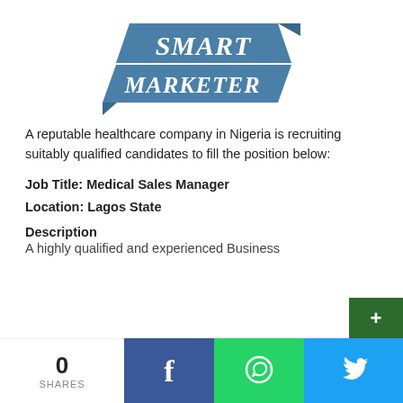[Figure (logo): Smart Marketer logo — bold blue ribbon-style banner with 'SMART MARKETER' in white serif text]
A reputable healthcare company in Nigeria is recruiting suitably qualified candidates to fill the position below:
Job Title: Medical Sales Manager
Location: Lagos State
Description
A highly qualified and experienced Business
0 SHARES  [Facebook] [WhatsApp] [Twitter]